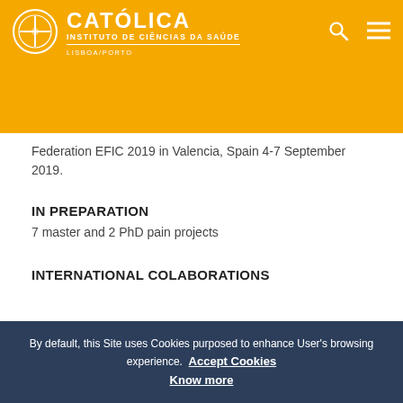CATÓLICA INSTITUTO DE CIÊNCIAS DA SAÚDE LISBOA/PORTO
Federation EFIC 2019 in Valencia, Spain 4-7 September 2019.
IN PREPARATION
7 master and 2 PhD pain projects
INTERNATIONAL COLABORATIONS
The Clinical Pain Innovation Lab headed by Dr. Roi Treister, The Cheryl Spencer Department of Nursing, Faculty of Social Welfare & Health Sciences, University of Haifa, Haifa, Israel.
By default, this Site uses Cookies purposed to enhance User's browsing experience.  Accept Cookies
Know more